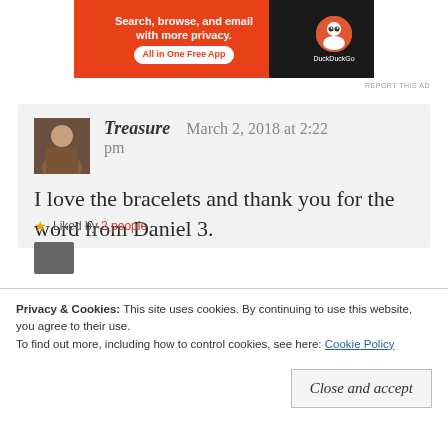[Figure (photo): DuckDuckGo advertisement banner: red-orange background with text 'Search, browse, and email with more privacy. All in One Free App' and DuckDuckGo logo on dark background]
REPORT THIS AD
Treasure   March 2, 2018 at 2:22 pm

I love the bracelets and thank you for the word from Daniel 3.

★ Liked by 2 people
Privacy & Cookies: This site uses cookies. By continuing to use this website, you agree to their use.
To find out more, including how to control cookies, see here: Cookie Policy

Close and accept